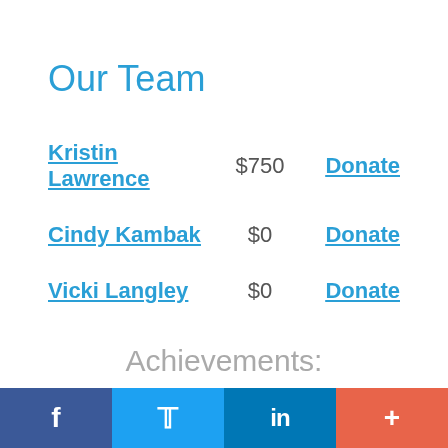Our Team
Kristin Lawrence   $750   Donate
Cindy Kambak   $0   Donate
Vicki Langley   $0   Donate
Achievements:
f  t  in  +